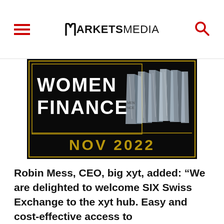MARKETS MEDIA
[Figure (photo): Women in Finance awards trophy display with crystal trophies on a black background. Text reads 'WOMEN FINANCE' and 'NOV 2022' in gold.]
Robin Mess, CEO, big xyt, added: “We are delighted to welcome SIX Swiss Exchange to the xyt hub. Easy and cost-effective access to